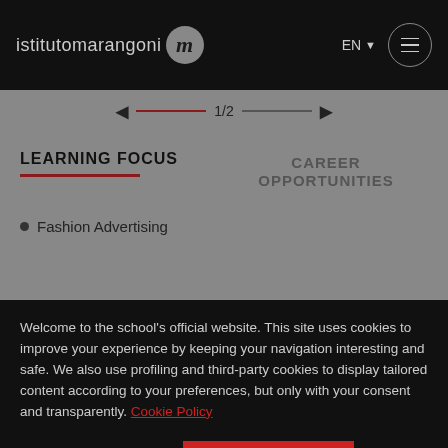istitutomarangoni m  EN  [menu]
1/2
LEARNING FOCUS
CAREER OPPORTUNITIES
Fashion Advertising
Welcome to the school's official website. This site uses cookies to improve your experience by keeping your navigation interesting and safe. We also use profiling and third-party cookies to display tailored content according to your preferences, but only with your consent and transparently. Cookie Policy
Manage preferences
Accept All Cookies